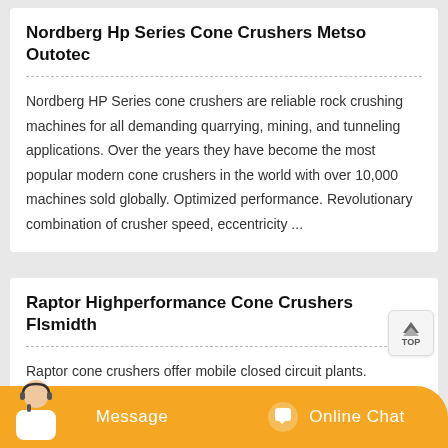Nordberg Hp Series Cone Crushers Metso Outotec
Nordberg HP Series cone crushers are reliable rock crushing machines for all demanding quarrying, mining, and tunneling applications. Over the years they have become the most popular modern cone crushers in the world with over 10,000 machines sold globally. Optimized performance. Revolutionary combination of crusher speed, eccentricity ...
Raptor Highperformance Cone Crushers Flsmidth
Raptor cone crushers offer mobile closed circuit plants. Productive and versatile, the Raptor cone crusher is readily mounted and easily